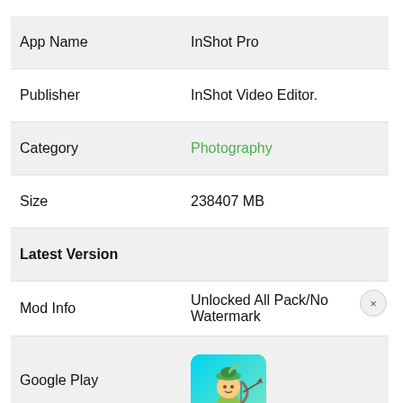| Field | Value |
| --- | --- |
| App Name | InShot Pro |
| Publisher | InShot Video Editor. |
| Category | Photography |
| Size | 238407 MB |
| Latest Version |  |
| Mod Info | Unlocked All Pack/No Watermark |
| Google Play | [app ad image] |